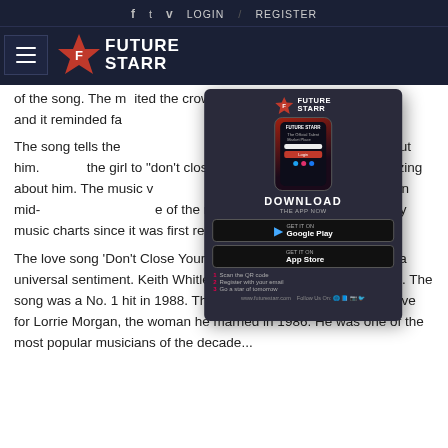f  t  v  LOGIN / REGISTER
FUTURE STARR
of the song. The m... ited the crowd, and it reminded fa...
[Figure (infographic): Future Starr app download advertisement showing phone mockup, Google Play and App Store buttons, QR code steps, and www.futurestarr.com URL]
The song tells the... his ex-girlfriend to forget about him.... the girl to "don't close her eyes." H... asizing about him. The music v... McClary and premiered in mid-... e of the most popular songs in the country music charts since it was first released.
The love song 'Don't Close Your Eyes' is an easy love song with a universal sentiment. Keith Whitley married Lorrie Morgan in 1986. The song was a No. 1 hit in 1988. The song's lyrics honor Whitley's love for Lorrie Morgan, the woman he married in 1986. He was one of the most popular musicians of the decade...